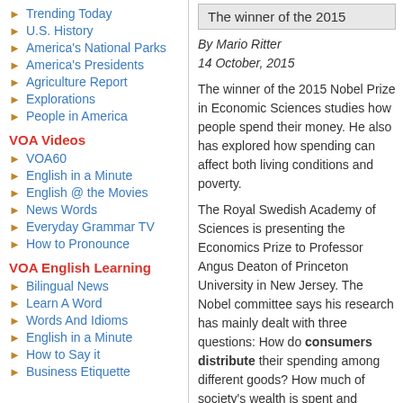Trending Today
U.S. History
America's National Parks
America's Presidents
Agriculture Report
Explorations
People in America
VOA Videos
VOA60
English in a Minute
English @ the Movies
News Words
Everyday Grammar TV
How to Pronounce
VOA English Learning
Bilingual News
Learn A Word
Words And Idioms
English in a Minute
How to Say it
Business Etiquette
The winner of the 2015
By Mario Ritter
14 October, 2015
The winner of the 2015 Nobel Prize in Economic Sciences studies how people spend their money. He also has explored how spending can affect both living conditions and poverty.
The Royal Swedish Academy of Sciences is presenting the Economics Prize to Professor Angus Deaton of Princeton University in New Jersey. The Nobel committee says his research has mainly dealt with three questions: How do consumers distribute their spending among different goods? How much of society's wealth is spent and